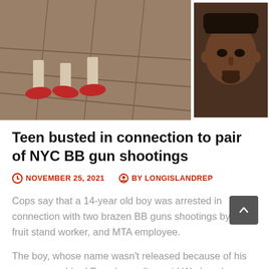[Figure (photo): Top portion: surveillance footage showing feet with red shoes on a wooden floor (left side) and a mugshot of a Black man with dreadlocks and a goatee (right side, in a white-bordered inset).]
Teen busted in connection to pair of NYC BB gun shootings
NOVEMBER 25, 2021   BY LONGISLANDREP
Cops say that a 14-year old boy was arrested in connection with two brazen BB guns shootings by a fruit stand worker, and MTA employee.
The boy, whose name wasn't released because of his age, was nabbed Tuesday, police said Wednesday.